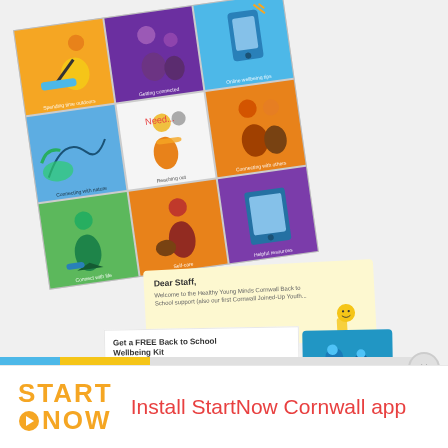[Figure (screenshot): Screenshot of a webpage showing a tilted 3x3 grid illustration card with colorful panels (orange, purple, blue, green, white) depicting various wellbeing activities. Below it is a yellow letter card and a back-to-school wellbeing kit article with a blue BTS 2021 Wellbeing Kit badge.]
[Figure (logo): START NOW logo in orange with a play button icon, accompanied by the text 'Install StartNow Cornwall app' in red/coral color on a white bottom bar.]
Install StartNow Cornwall app